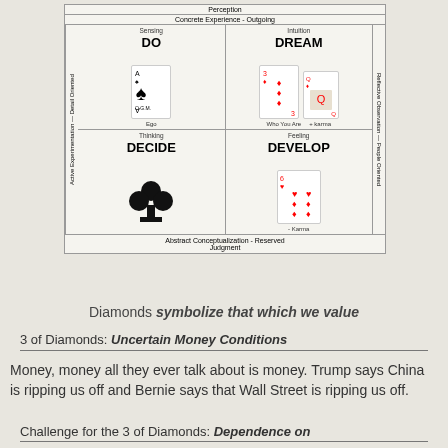[Figure (infographic): A 2x2 learning styles grid showing DO (Sensing/Ace of Spades/Ego), DREAM (Intuition/cards/Who You Are/+karma), DECIDE (Thinking/club symbol), DEVELOP (Feeling/card/-Karma). Axes: Concrete Experience - Outgoing (top), Abstract Conceptualization - Reserved (bottom), Active Experimentation - Detail Oriented (left), Reflective Observation - People Oriented (right). Top: Perception, Bottom: Judgment.]
Diamonds symbolize that which we value
3 of Diamonds: Uncertain Money Conditions
Money, money all they ever talk about is money. Trump says China is ripping us off and Bernie says that Wall Street is ripping us off.
Challenge for the 3 of Diamonds: Dependence on